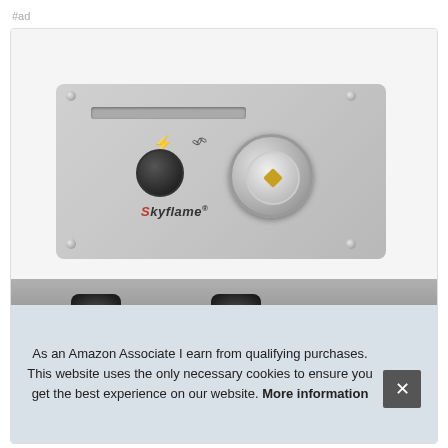#ad
[Figure (photo): Skyflame gas fireplace control panel with ignition knob and gas valve, stainless steel plate with brand logo, and black hose connectors at bottom]
As an Amazon Associate I earn from qualifying purchases. This website uses the only necessary cookies to ensure you get the best experience on our website. More information